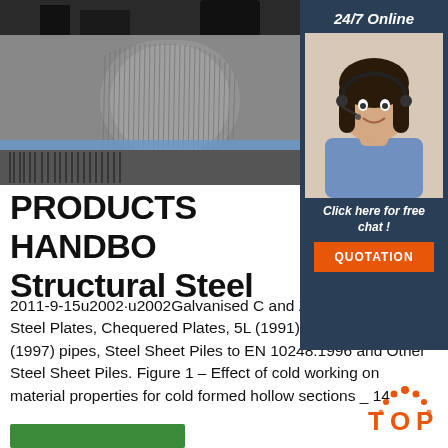[Figure (photo): Photo of steel wire coils/rolls in a factory setting, showing bundled steel strands]
[Figure (photo): 24/7 Online chat support sidebar with photo of female customer service agent wearing headset, with 'Click here for free chat!' text and orange QUOTATION button]
PRODUCTS HANDBOOK Structural Steel
2011-9-15u2002·u2002Galvanised C and Z Purlins, Mild Steel Plates, Chequered Plates, 5L (1991) and ASTM A53 (1997) pipes, Steel Sheet Piles to EN 10248:1996 and Other Steel Sheet Piles. Figure 1 – Effect of cold working on material properties for cold formed hollow sections _ 14